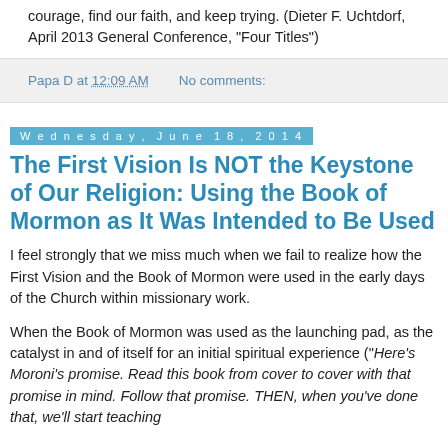courage, find our faith, and keep trying. (Dieter F. Uchtdorf, April 2013 General Conference, "Four Titles")
Papa D at 12:09 AM   No comments:
Wednesday, June 18, 2014
The First Vision Is NOT the Keystone of Our Religion: Using the Book of Mormon as It Was Intended to Be Used
I feel strongly that we miss much when we fail to realize how the First Vision and the Book of Mormon were used in the early days of the Church within missionary work.
When the Book of Mormon was used as the launching pad, as the catalyst in and of itself for an initial spiritual experience ("Here's Moroni's promise. Read this book from cover to cover with that promise in mind. Follow that promise. THEN, when you've done that, we'll start teaching